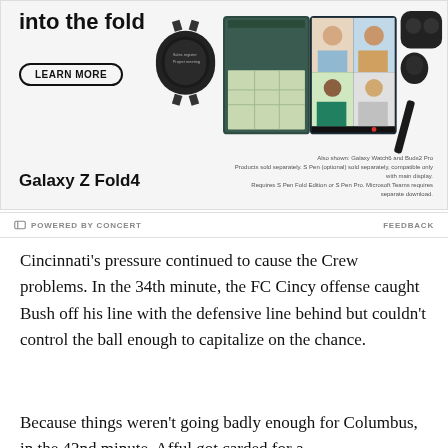[Figure (photo): Samsung Galaxy Z Fold4 advertisement showing the foldable phone open, a Galaxy Watch6, Buds2 Pro earbuds, and an S Pen. A 'LEARN MORE' button is shown on the left. Text reads 'into the fold' at top. Bottom left says 'Galaxy Z Fold4'. Bottom right has disclaimer text about products sold separately.]
POWERED BY CONCERT   FEEDBACK
Cincinnati's pressure continued to cause the Crew problems. In the 34th minute, the FC Cincy offense caught Bush off his line with the defensive line behind but couldn't control the ball enough to capitalize on the chance.
Because things weren't going badly enough for Columbus, in the 42nd minute, Afful got carded for a